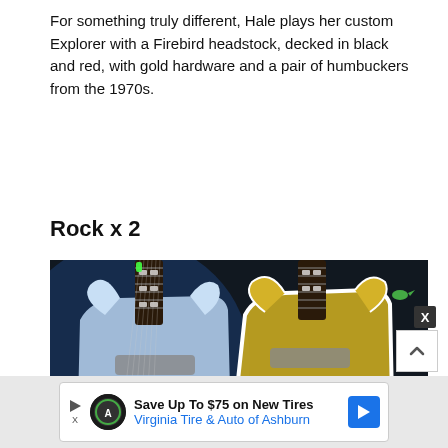For something truly different, Hale plays her custom Explorer with a Firebird headstock, decked in black and red, with gold hardware and a pair of humbuckers from the 1970s.
Rock x 2
[Figure (photo): Photo of two electric guitars (SG-style) side by side — one white/blue-tinted and one gold/white — shot from above showing the bodies and necks with frets, under blue/purple stage lighting on a dark background.]
Save Up To $75 on New Tires
Virginia Tire & Auto of Ashburn